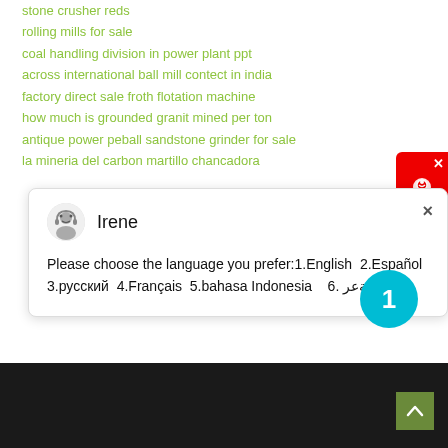stone crusher reds
rolling mills for sale
coal handling division in power plant ppt
across international ball mill contect in india
factory direct sale froth flotation machine
how much is grounded granit mined per ton
antique power peball sandstone grinder for sale
la mineria del carbon martillo chancadora
Irene
Please choose the language you prefer:1.English  2.Español  3.русский  4.Français  5.bahasa Indonesia   6. عربيةعر